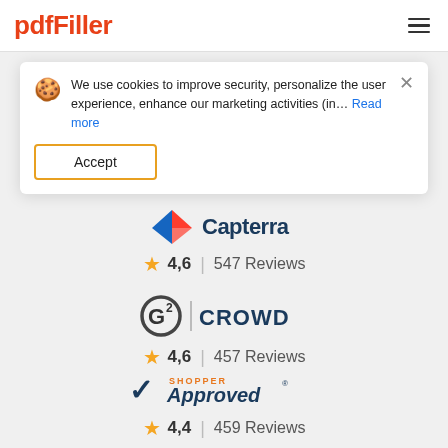pdfFiller
We use cookies to improve security, personalize the user experience, enhance our marketing activities (in... Read more
Accept
[Figure (logo): Capterra logo with triangle shape and text]
4,6 | 547 Reviews
[Figure (logo): G2 Crowd logo]
4,6 | 457 Reviews
[Figure (logo): Shopper Approved logo]
4,4 | 459 Reviews